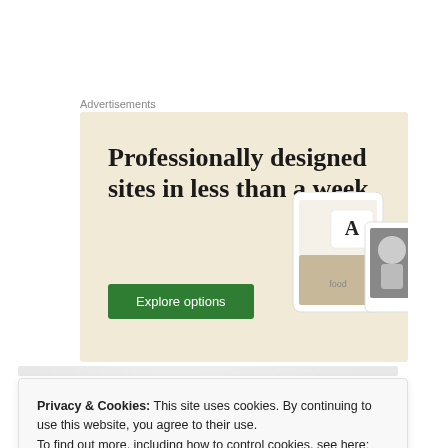Advertisements
[Figure (illustration): Advertisement banner with beige/cream background. Large serif text reads 'Professionally designed sites in less than a week'. Green button labeled 'Explore options'. Mockup images of website/app interfaces on the right side.]
Privacy & Cookies: This site uses cookies. By continuing to use this website, you agree to their use.
To find out more, including how to control cookies, see here:
Cookie Policy
Close and accept